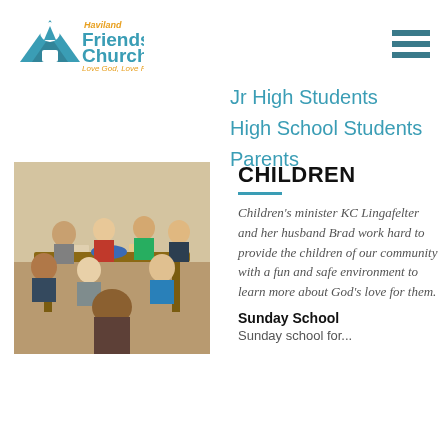[Figure (logo): Haviland Friends Church logo with teal mountain/tree icon and text 'Friends Church Love God, Love People.']
[Figure (other): Hamburger menu icon with three teal horizontal bars]
Jr High Students
High School Students
Parents
[Figure (photo): Children sitting around a table doing crafts or activities in a classroom setting]
CHILDREN
Children's minister KC Lingafelter and her husband Brad work hard to provide the children of our community with a fun and safe environment to learn more about God's love for them.
Sunday School
Sunday school for...